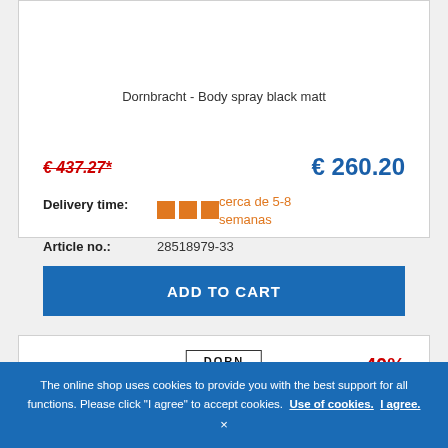Dornbracht - Body spray black matt
€ 437.27*
€ 260.20
Delivery time: cerca de 5-8 semanas
Article no.: 28518979-33
ADD TO CART
[Figure (logo): Dornbracht logo in a bordered box]
-40%
The online shop uses cookies to provide you with the best support for all functions. Please click "I agree" to accept cookies. Use of cookies. I agree.